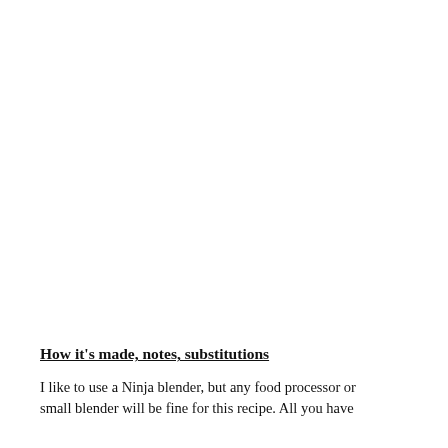How it's made, notes, substitutions
I like to use a Ninja blender, but any food processor or small blender will be fine for this recipe. All you have